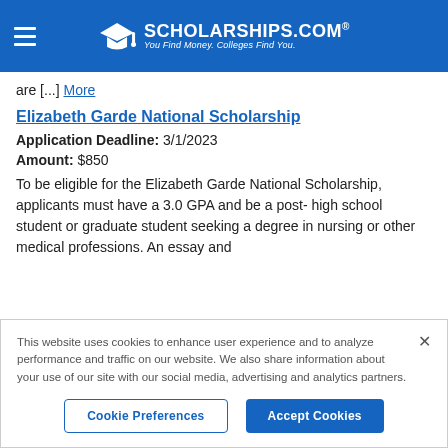SCHOLARSHIPS.COM® — You Find Money. Colleges Find You.
are [...] More
Elizabeth Garde National Scholarship
Application Deadline: 3/1/2023
Amount: $850
To be eligible for the Elizabeth Garde National Scholarship, applicants must have a 3.0 GPA and be a post- high school student or graduate student seeking a degree in nursing or other medical professions. An essay and…
This website uses cookies to enhance user experience and to analyze performance and traffic on our website. We also share information about your use of our site with our social media, advertising and analytics partners.
Cookie Preferences   Accept Cookies